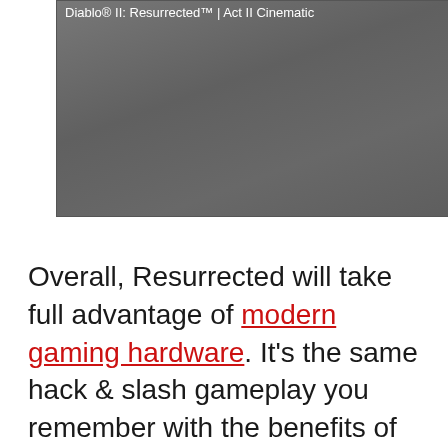[Figure (screenshot): Video thumbnail for 'Diablo® II: Resurrected™ | Act II Cinematic' showing a dark gray/gradient placeholder frame with white text label at top left.]
Overall, Resurrected will take full advantage of modern gaming hardware. It's the same hack & slash gameplay you remember with the benefits of newer consoles and PCs. Compared to the old